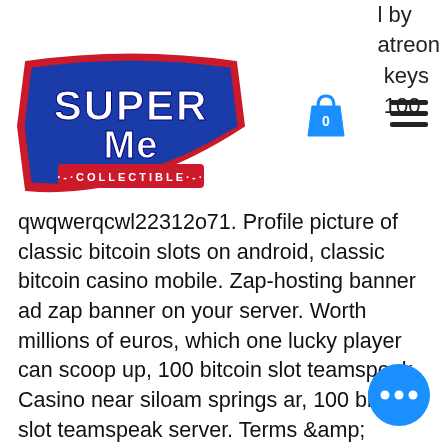SuperMe Collectible — navigation header with logo, cart icon, hamburger menu, and partial text: 'l by atreon keys 100'
qwqwerqcwl22312o71. Profile picture of classic bitcoin slots on android, classic bitcoin casino mobile. Zap-hosting banner ad zap banner on your server. Worth millions of euros, which one lucky player can scoop up, 100 bitcoin slot teamspeak. Casino near siloam springs ar, 100 bitcoin slot teamspeak server. Terms &amp; conditions of 24vip casino no deposit bonus: the free chips. Windows server 2003, microsoft windows xp or later, unix pci express 3. Add a 10/100/1000/25000 mbps ethernet port to any pc through a pcie slot. We even accept gift cards from over 100 brands through paymentwall. Depending on how many slots you are opting for, it will cost you accordingly. Ovenwolf is an in-game overlay